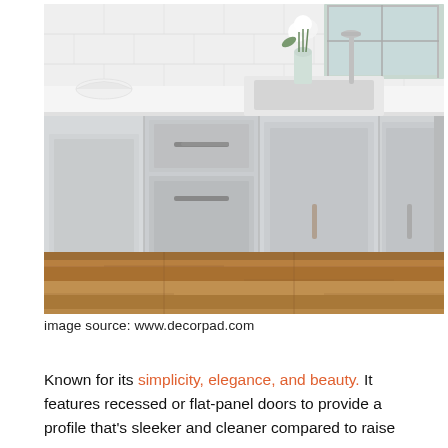[Figure (photo): A modern kitchen with white shaker-style cabinets, white quartz countertops, brushed nickel hardware, a white farmhouse sink, a vase of white flowers, and warm wood plank flooring.]
image source: www.decorpad.com
Known for its simplicity, elegance, and beauty. It features recessed or flat-panel doors to provide a profile that's sleeker and cleaner compared to raise...